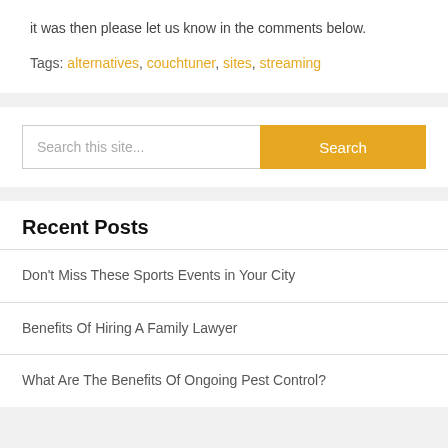it was then please let us know in the comments below.
Tags: alternatives, couchtuner, sites, streaming
[Figure (screenshot): Search bar with placeholder 'Search this site...' and yellow Search button]
Recent Posts
Don't Miss These Sports Events in Your City
Benefits Of Hiring A Family Lawyer
What Are The Benefits Of Ongoing Pest Control?